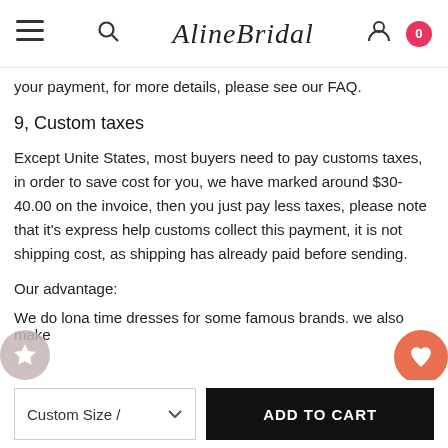AlineBridal — navigation bar with menu, search, account, and cart (0 items)
your payment, for more details, please see our FAQ.
9, Custom taxes
Except Unite States, most buyers need to pay customs taxes, in order to save cost for you, we have marked around $30-40.00 on the invoice, then you just pay less taxes, please note that it's express help customs collect this payment, it is not shipping cost, as shipping has already paid before sending.
Our advantage:
We do lona time dresses for some famous brands. we also make